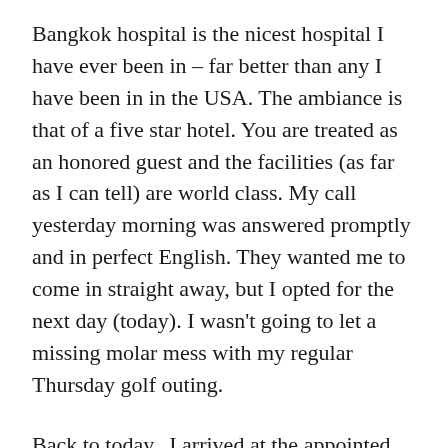Bangkok hospital is the nicest hospital I have ever been in – far better than any I have been in in the USA. The ambiance is that of a five star hotel. You are treated as an honored guest and the facilities (as far as I can tell) are world class. My call yesterday morning was answered promptly and in perfect English. They wanted me to come in straight away, but I opted for the next day (today). I wasn't going to let a missing molar mess with my regular Thursday golf outing.
Back to today...I arrived at the appointed time at the hospital and entered their large parking lot where a uniformed attended directed me to an open spot. As he guided me in, he noticed that my tire looked flat. He looked closer and noticed the bolt that I had picked up that was slowly but surely releasing the tire's air. Shit... when things start going wrong you wonder where it will